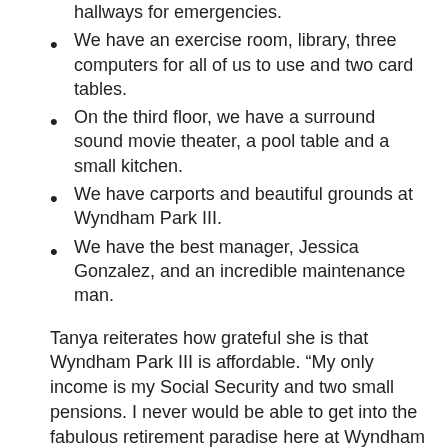We have an exercise room, library, three computers for all of us to use and two card tables.
On the third floor, we have a surround sound movie theater, a pool table and a small kitchen.
We have carports and beautiful grounds at Wyndham Park III.
We have the best manager, Jessica Gonzalez, and an incredible maintenance man.
Tanya reiterates how grateful she is that Wyndham Park III is affordable. “My only income is my Social Security and two small pensions. I never would be able to get into the fabulous retirement paradise here at Wyndham Park III without the tax credit that Fairway Management has been able to use to build this fabulous complex. I wake up every morning thanking God that I live in Wyndham Park III,” Tanya said.